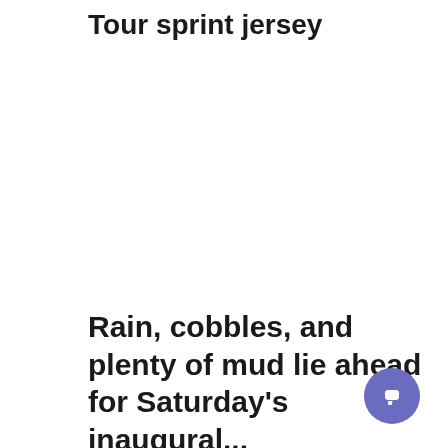Tour sprint jersey
Rain, cobbles, and plenty of mud lie ahead for Saturday's inaugural...